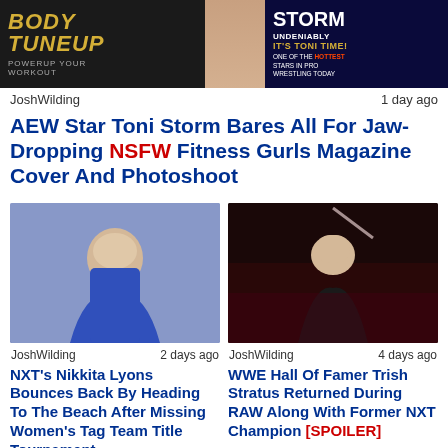[Figure (photo): Magazine cover collage: left side shows 'Body Tuneup' fitness magazine, right side shows Toni Storm magazine cover with text 'Storm - Undeniably It's Toni Time!']
JoshWilding    1 day ago
AEW Star Toni Storm Bares All For Jaw-Dropping NSFW Fitness Gurls Magazine Cover And Photoshoot
[Figure (photo): Nikkita Lyons in blue outfit against grey background]
[Figure (photo): Trish Stratus waving at a WWE event crowd]
JoshWilding    2 days ago
JoshWilding    4 days ago
NXT's Nikkita Lyons Bounces Back By Heading To The Beach After Missing Women's Tag Team Title Tournament
WWE Hall Of Famer Trish Stratus Returned During RAW Along With Former NXT Champion [SPOILER]